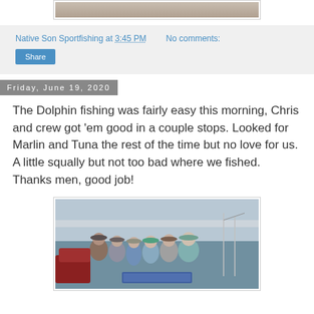[Figure (photo): Partial photo visible at top of page, appears to be an outdoor/fishing scene]
Native Son Sportfishing at 3:45 PM    No comments:
Share
Friday, June 19, 2020
The Dolphin fishing was fairly easy this morning, Chris and crew got 'em good in a couple stops. Looked for Marlin and Tuna the rest of the time but no love for us.  A little squally but not too bad where we fished. Thanks men, good job!
[Figure (photo): Group photo of six men standing together outdoors at what appears to be a marina or dock, wearing casual clothes and hats]